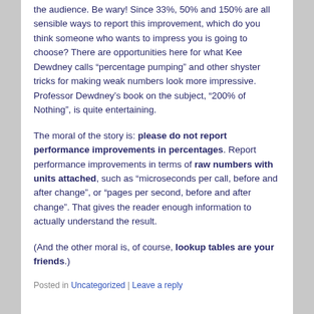the audience. Be wary! Since 33%, 50% and 150% are all sensible ways to report this improvement, which do you think someone who wants to impress you is going to choose? There are opportunities here for what Kee Dewdney calls “percentage pumping” and other shyster tricks for making weak numbers look more impressive. Professor Dewdney’s book on the subject, “200% of Nothing”, is quite entertaining.
The moral of the story is: please do not report performance improvements in percentages. Report performance improvements in terms of raw numbers with units attached, such as “microseconds per call, before and after change”, or “pages per second, before and after change”. That gives the reader enough information to actually understand the result.
(And the other moral is, of course, lookup tables are your friends.)
Posted in Uncategorized | Leave a reply